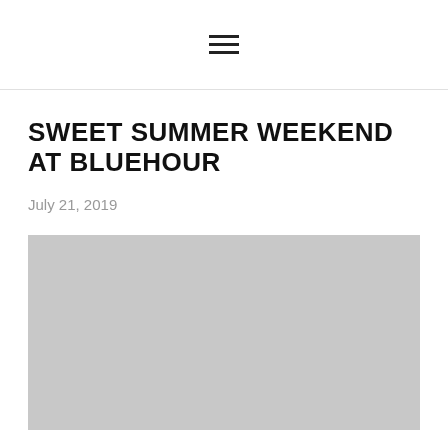SWEET SUMMER WEEKEND AT BLUEHOUR
July 21, 2019
[Figure (photo): Large grey placeholder image below the article title]